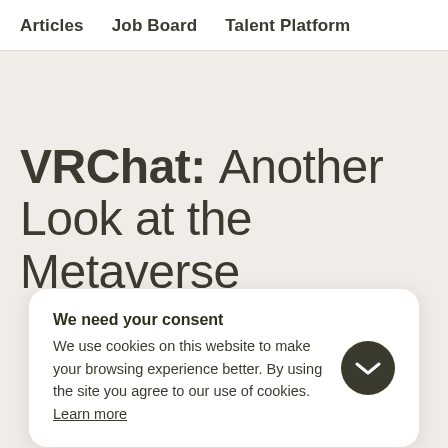Articles  Job Board  Talent Platform
VRChat: Another Look at the Metaverse
We need your consent
We use cookies on this website to make your browsing experience better. By using the site you agree to our use of cookies. Learn more